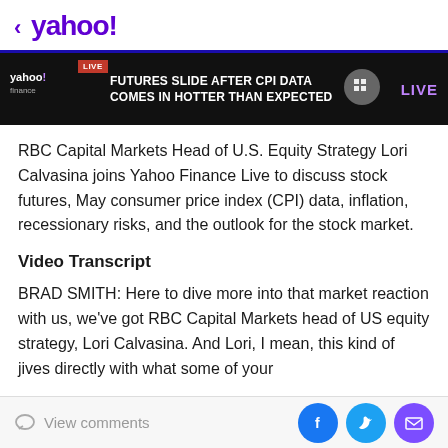< yahoo!
[Figure (screenshot): Yahoo Finance Live video banner showing 'FUTURES SLIDE AFTER CPI DATA COMES IN HOTTER THAN EXPECTED' with LIVE indicator on dark background]
RBC Capital Markets Head of U.S. Equity Strategy Lori Calvasina joins Yahoo Finance Live to discuss stock futures, May consumer price index (CPI) data, inflation, recessionary risks, and the outlook for the stock market.
Video Transcript
BRAD SMITH: Here to dive more into that market reaction with us, we've got RBC Capital Markets head of US equity strategy, Lori Calvasina. And Lori, I mean, this kind of jives directly with what some of your
View comments